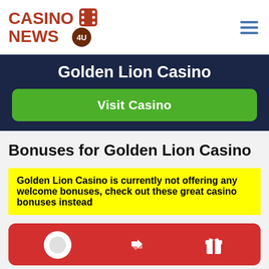[Figure (logo): Casino News 4U logo with dice icon and brown/red text]
Golden Lion Casino
Visit Casino
Bonuses for Golden Lion Casino
Golden Lion Casino is currently not offering any welcome bonuses, check out these great casino bonuses instead
[Figure (infographic): Red card section with circular logo placeholder and icons for arrows and gift]